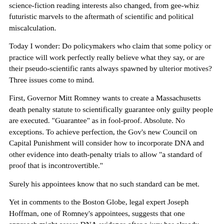science-fiction reading interests also changed, from gee-whiz futuristic marvels to the aftermath of scientific and political miscalculation.
Today I wonder: Do policymakers who claim that some policy or practice will work perfectly really believe what they say, or are their pseudo-scientific rants always spawned by ulterior motives? Three issues come to mind.
First, Governor Mitt Romney wants to create a Massachusetts death penalty statute to scientifically guarantee only guilty people are executed. "Guarantee" as in fool-proof. Absolute. No exceptions. To achieve perfection, the Gov's new Council on Capital Punishment will consider how to incorporate DNA and other evidence into death-penalty trials to allow "a standard of proof that is incontrovertible."
Surely his appointees know that no such standard can be met.
Yet in comments to the Boston Globe, legal expert Joseph Hoffman, one of Romney's appointees, suggests that one approach might assess DNA evidence after a jury has already found a defendant guilty of murder beyond a reasonable doubt. Along with determining aggravating and mitigating circumstances, the jury would listen to arguments about the scientific evidence and then answer the question "Do you